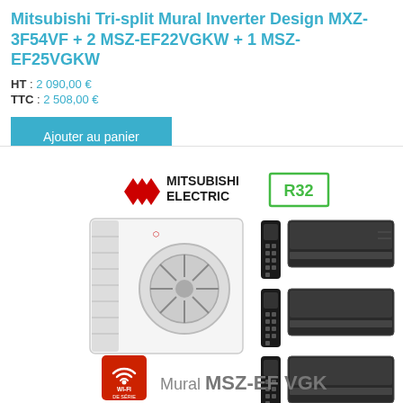Mitsubishi Tri-split Mural Inverter Design MXZ-3F54VF + 2 MSZ-EF22VGKW + 1 MSZ-EF25VGKW
HT : 2 090,00 €
TTC : 2 508,00 €
Ajouter au panier
[Figure (photo): Mitsubishi Electric MXZ-3F54VF tri-split air conditioning system product image showing outdoor unit, three remote controls, three indoor wall units (MSZ-EF VGK black design), R32 badge, Wi-Fi de série badge, and 'Mural MSZ-EF VGK' text]